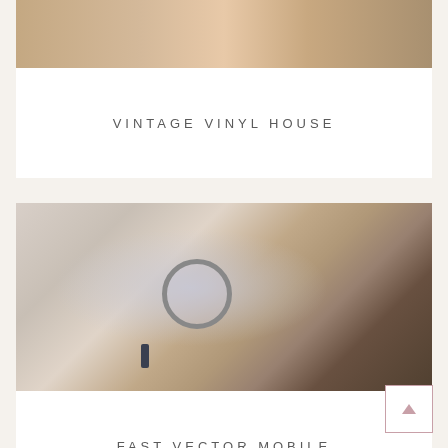[Figure (photo): Cropped photo showing a hand or skin tones, partially visible at the top of the page]
VINTAGE VINYL HOUSE
[Figure (photo): A blonde woman with red lipstick looking through a magnifying glass at a tiny man in a suit carrying a briefcase]
FAST VECTOR MOBILE